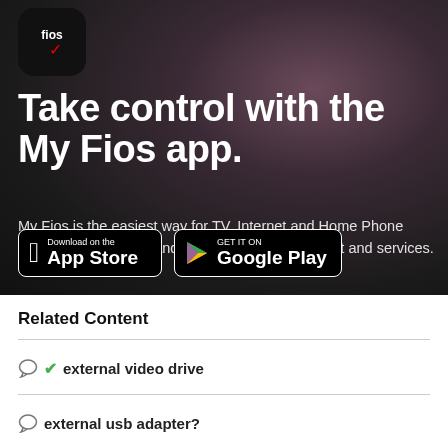[Figure (logo): Fios app icon — black rounded square with white 'fios' text and red checkmark]
Take control with the My Fios app.
My Fios is the easiest way for TV, Internet and Home Phone customers to access and control their Fios account and services.
[Figure (other): App Store and Google Play download buttons]
Related Content
external video drive
external usb adapter?